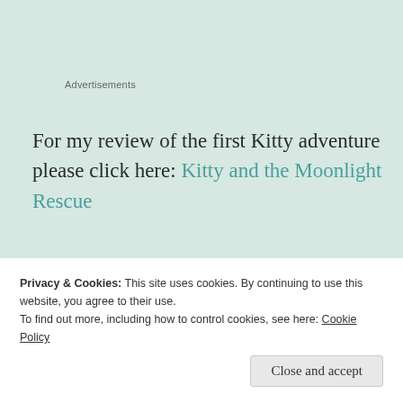Advertisements
For my review of the first Kitty adventure please click here: Kitty and the Moonlight Rescue
Thank you to OUP Children’s Publishing for my copy of this book in return for an honest review.
Privacy & Cookies: This site uses cookies. By continuing to use this website, you agree to their use.
To find out more, including how to control cookies, see here: Cookie Policy
Close and accept